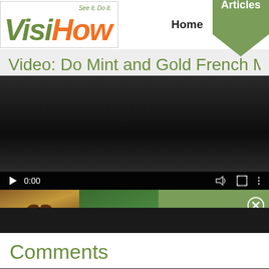[Figure (screenshot): VisiHow website screenshot showing logo with 'Visi' in green and 'How' in orange with tagline 'See it. Do it.', navigation with Home and Articles buttons]
Video: Do Mint and Gold French M
[Figure (screenshot): Video player screenshot showing dark video area with play button and time 0:00, with an overlay showing Christmas treats thumbnail and '16 Easy Christmas Treats You Need To Try' text]
Comments